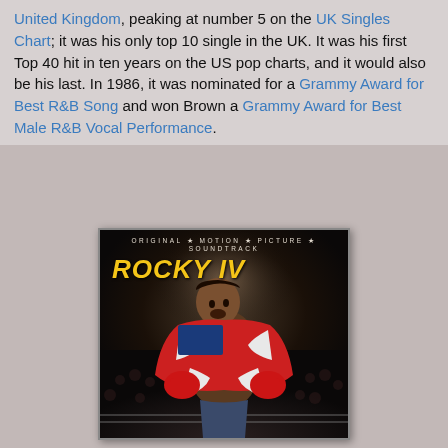United Kingdom, peaking at number 5 on the UK Singles Chart; it was his only top 10 single in the UK. It was his first Top 40 hit in ten years on the US pop charts, and it would also be his last. In 1986, it was nominated for a Grammy Award for Best R&B Song and won Brown a Grammy Award for Best Male R&B Vocal Performance.
[Figure (photo): Album cover for Rocky IV Original Motion Picture Soundtrack, showing a muscular fighter (Rocky/Sylvester Stallone) wrapped in an American flag with boxing gloves, looking upward triumphantly in a boxing ring, with crowd visible in the background.]